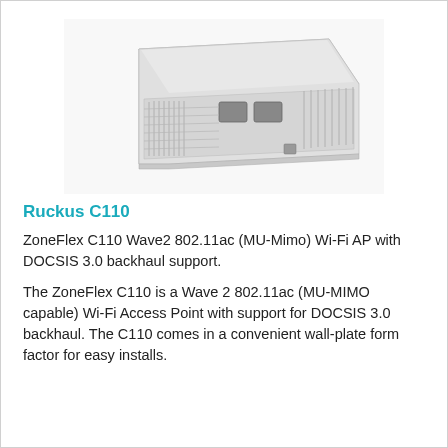[Figure (photo): Photo of the Ruckus C110 Wi-Fi access point device, a white rectangular wall-plate form factor unit with ventilation grills and ports visible on the front face, shown in a 3D perspective view against a white background.]
Ruckus C110
ZoneFlex C110 Wave2 802.11ac (MU-Mimo) Wi-Fi AP with DOCSIS 3.0 backhaul support.
The ZoneFlex C110 is a Wave 2 802.11ac (MU-MIMO capable) Wi-Fi Access Point with support for DOCSIS 3.0 backhaul. The C110 comes in a convenient wall-plate form factor for easy installs.